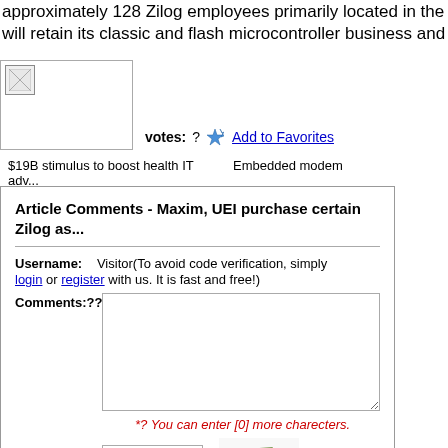approximately 128 Zilog employees primarily located in the United States will retain its classic and flash microcontroller business and Crimzon Co
[Figure (other): Small broken image thumbnail placeholder]
votes: ? Add to Favorites
$19B stimulus to boost health IT adv...    Embedded modem
Article Comments - Maxim, UEI purchase certain Zilog as...
Username: Visitor(To avoid code verification, simply login or register with us. It is fast and free!)
Comments:??
*? You can enter [0] more charecters.
*Verify code: